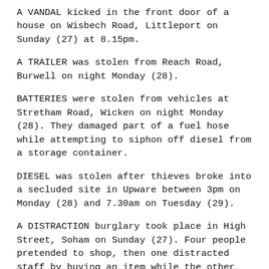A VANDAL kicked in the front door of a house on Wisbech Road, Littleport on Sunday (27) at 8.15pm.
A TRAILER was stolen from Reach Road, Burwell on night Monday (28).
BATTERIES were stolen from vehicles at Stretham Road, Wicken on night Monday (28). They damaged part of a fuel hose while attempting to siphon off diesel from a storage container.
DIESEL was stolen after thieves broke into a secluded site in Upware between 3pm on Monday (28) and 7.30am on Tuesday (29).
A DISTRACTION burglary took place in High Street, Soham on Sunday (27). Four people pretended to shop, then one distracted staff by buying an item while the other three left without paying.